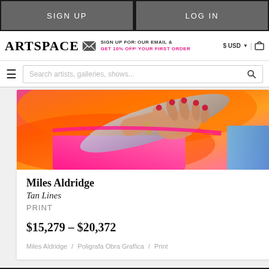SIGN UP | LOG IN
ARTSPACE | SIGN UP FOR OUR EMAIL & GET 10% OFF YOUR FIRST ORDER | $ USD | cart
Search artists, galleries, shows...
[Figure (photo): Close-up photo of a hand with red nail polish reaching over colorful fabrics in pink, orange, and blue tones — abstract fashion/art photography by Miles Aldridge titled Tan Lines]
Miles Aldridge
Tan Lines
PRINT
$15,279 - $20,372
Miles Aldridge / Poligrafa Obra Grafica / Print